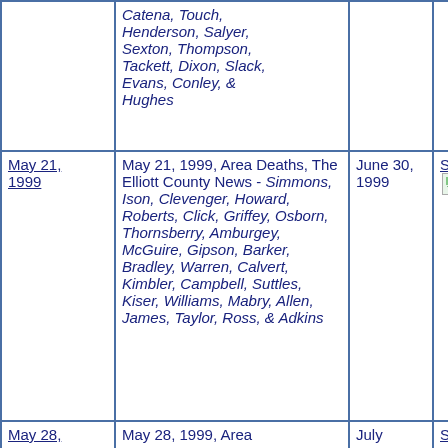| Date | Description | Date Added | Contributor |
| --- | --- | --- | --- |
|  | Catena, Touch, Henderson, Salyer, Sexton, Thompson, Tackett, Dixon, Slack, Evans, Conley, & Hughes |  |  |
| May 21, 1999 | May 21, 1999, Area Deaths, The Elliott County News - Simmons, Ison, Clevenger, Howard, Roberts, Click, Griffey, Osborn, Thornsberry, Amburgey, McGuire, Gipson, Barker, Bradley, Warren, Calvert, Kimbler, Campbell, Suttles, Kiser, Williams, Mabry, Allen, James, Taylor, Ross, & Adkins | June 30, 1999 | Samone Ratcliff |
| May 28, | May 28, 1999, Area | July | Samone |